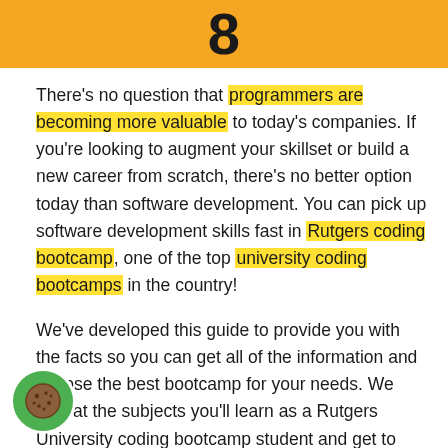8
There's no question that programmers are becoming more valuable to today's companies. If you're looking to augment your skillset or build a new career from scratch, there's no better option today than software development. You can pick up software development skills fast in Rutgers coding bootcamp, one of the top university coding bootcamps in the country!
We've developed this guide to provide you with the facts so you can get all of the information and choose the best bootcamp for your needs. We look at the subjects you'll learn as a Rutgers University coding bootcamp student and get to know the folks who'll teach you your topics.